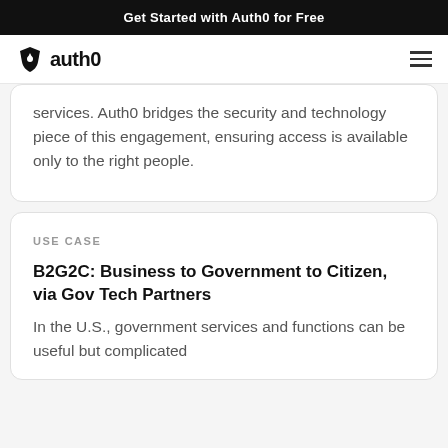Get Started with Auth0 for Free
[Figure (logo): Auth0 logo with shield icon and 'auth0' text, plus hamburger menu icon]
services. Auth0 bridges the security and technology piece of this engagement, ensuring access is available only to the right people.
USE CASE
B2G2C: Business to Government to Citizen, via Gov Tech Partners
In the U.S., government services and functions can be useful but complicated